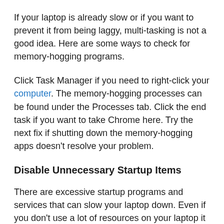If your laptop is already slow or if you want to prevent it from being laggy, multi-tasking is not a good idea. Here are some ways to check for memory-hogging programs.
Click Task Manager if you need to right-click your computer. The memory-hogging processes can be found under the Processes tab. Click the end task if you want to take Chrome here. Try the next fix if shutting down the memory-hogging apps doesn't resolve your problem.
Disable Unnecessary Startup Items
There are excessive startup programs and services that can slow your laptop down. Even if you don't use a lot of resources on your laptop it can be really